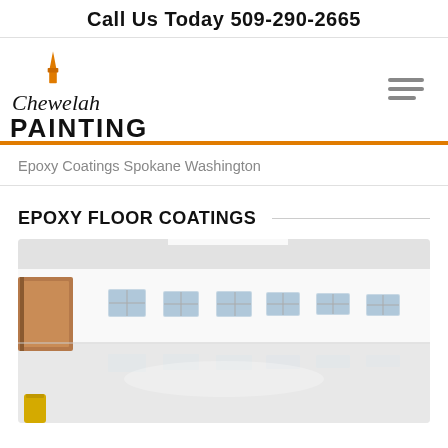Call Us Today 509-290-2665
[Figure (logo): Chewelah Painting logo with orange paint brush icon above the text 'Chewelah PAINTING']
Epoxy Coatings Spokane Washington
EPOXY FLOOR COATINGS
[Figure (photo): Interior photo of a room with bright white epoxy-coated floors. Multiple framed window openings or pass-through windows line the white walls. A wooden door is visible on the left side. The glossy white floor reflects the wall elements.]